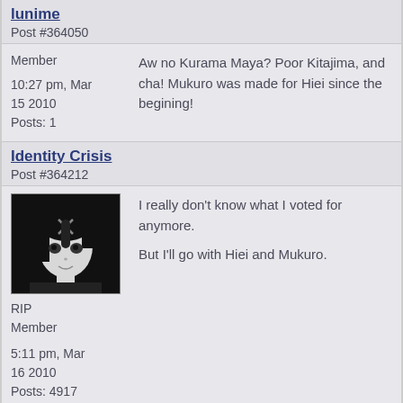lunime
Post #364050
Member
10:27 pm, Mar 15 2010
Posts: 1
Aw no Kurama Maya? Poor Kitajima, and cha! Mukuro was made for Hiei since the begining!
Identity Crisis
Post #364212
[Figure (illustration): Black and white anime-style illustration of a female character with dark hair and a cross/X mark on her forehead, looking forward with a slight smile]
RIP
Member
5:11 pm, Mar 16 2010
Posts: 4917
I really don't know what I voted for anymore.

But I'll go with Hiei and Mukuro.